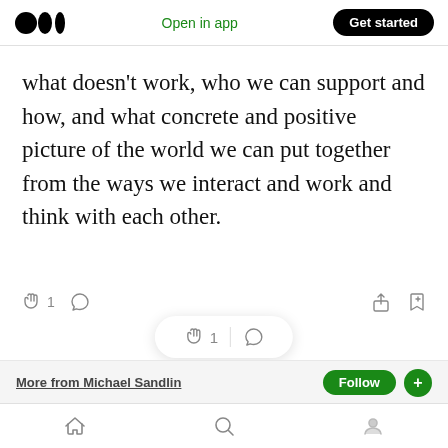[Figure (screenshot): Medium app navigation bar with logo, 'Open in app' link, and 'Get started' button]
what doesn’t work, who we can support and how, and what concrete and positive picture of the world we can put together from the ways we interact and work and think with each other.
[Figure (screenshot): Article interaction bar with clap icon showing 1 clap, comment icon, share icon, and bookmark icon]
[Figure (screenshot): Floating pill showing clap icon with 1 and comment icon]
[Figure (screenshot): Bottom section with 'More from Michael Sandlin' text and Follow/Follow+ green buttons, plus bottom navigation bar with home, search, and profile icons]